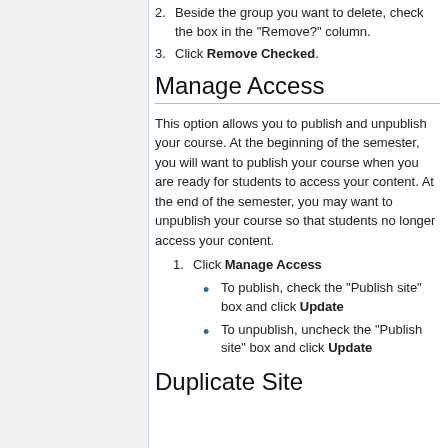2. Beside the group you want to delete, check the box in the "Remove?" column.
3. Click Remove Checked.
Manage Access
This option allows you to publish and unpublish your course. At the beginning of the semester, you will want to publish your course when you are ready for students to access your content. At the end of the semester, you may want to unpublish your course so that students no longer access your content.
1. Click Manage Access
To publish, check the "Publish site" box and click Update
To unpublish, uncheck the "Publish site" box and click Update
Duplicate Site